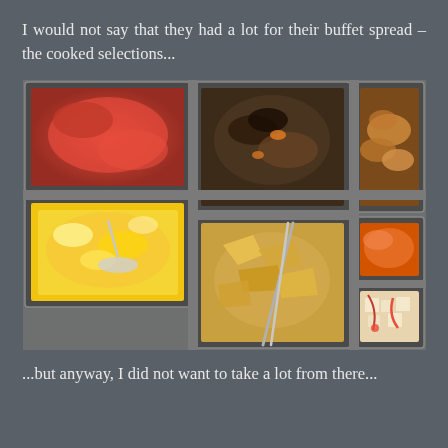I would not say that they had a lot for their buffet spread – the cooked selections...
[Figure (photo): A buffet spread showing multiple stainless steel serving trays containing various cooked dishes including scrambled eggs, stir-fried vegetables, fried chicken pieces, a red sauce dish, a tofu dish with ketchup, and what appears to be an egg-based dish with tongs.]
...but anyway, I did not want to take a lot from there...